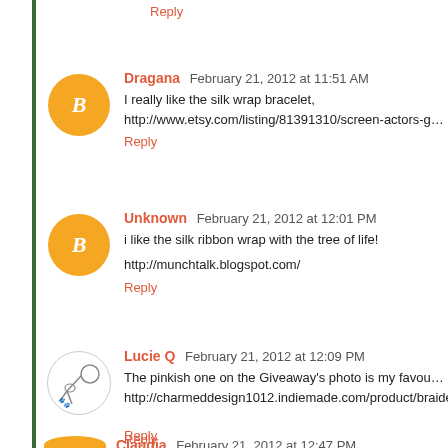Reply
Dragana  February 21, 2012 at 11:51 AM
I really like the silk wrap bracelet, http://www.etsy.com/listing/81391310/screen-actors-guild-awards-silk-w...
Reply
Unknown  February 21, 2012 at 12:01 PM
i like the silk ribbon wrap with the tree of life!
http://munchtalk.blogspot.com/
Reply
Lucie Q  February 21, 2012 at 12:09 PM
The pinkish one on the Giveaway's photo is my favourite, but from the s... http://charmeddesign1012.indiemade.com/product/braided-satin-and-ch...
Reply
Claudia  February 21, 2012 at 12:47 PM